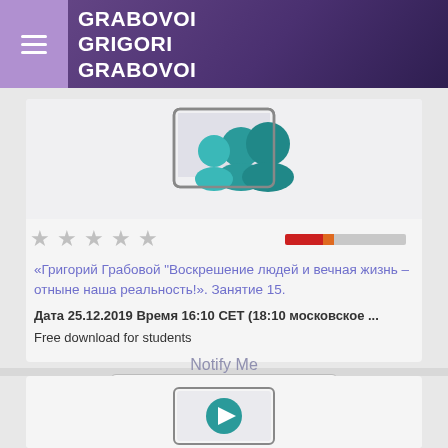GRABOVOI GRIGORI GRABOVOI
[Figure (illustration): Thumbnail image showing people/users icon on a tablet, teal/turquoise colored group of people silhouettes]
★ ★ ★ ★ ★
«Григорий Грабовой "Воскрешение людей и вечная жизнь – отныне наша реальность!". Занятие 15.
Дата 25.12.2019 Время 16:10 CET (18:10 московское ...
Free download for students
Notify Me
Product details
[Figure (illustration): Video play button icon — teal circle with white play triangle, inside a rectangular frame]